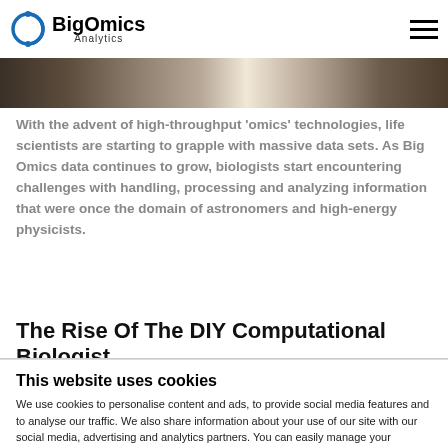BigOmics Analytics
[Figure (photo): Lab photo strip showing a laboratory environment with people working]
With the advent of high-throughput ‘omics’ technologies, life scientists are starting to grapple with massive data sets. As Big Omics data continues to grow, biologists start encountering challenges with handling, processing and analyzing information that were once the domain of astronomers and high-energy physicists.
The Rise Of The DIY Computational Biologist
This website uses cookies
We use cookies to personalise content and ads, to provide social media features and to analyse our traffic. We also share information about your use of our site with our social media, advertising and analytics partners. You can easily manage your preferences or read more about cookies in our Privacy Policy.